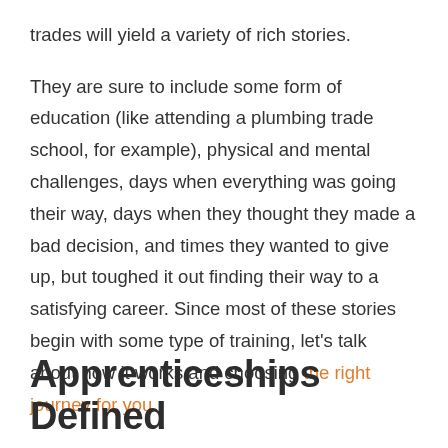trades will yield a variety of rich stories.
They are sure to include some form of education (like attending a plumbing trade school, for example), physical and mental challenges, days when everything was going their way, days when they thought they made a bad decision, and times they wanted to give up, but toughed it out finding their way to a satisfying career. Since most of these stories begin with some type of training, let's talk about how it works and choosing the right journey for you.
Apprenticeships Defined